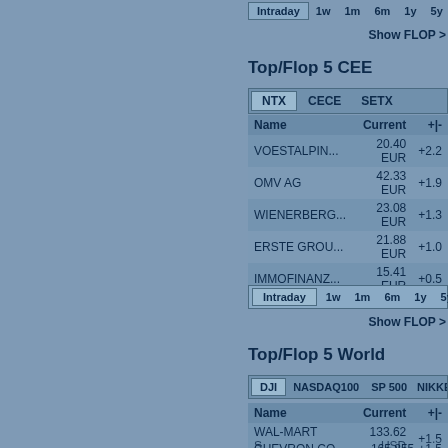[Figure (screenshot): Time period navigation bar: Intraday (active), 1w, 1m, 6m, 1y, 5y buttons at top]
Show FLOP
Top/Flop 5 CEE
[Figure (screenshot): Tab bar with NTX (active), CECE, SETX tabs]
| Name | Current | +|- |
| --- | --- | --- |
| VOESTALPIN... | 20.40 EUR | +2.2 |
| OMV AG | 42.33 EUR | +1.9 |
| WIENERBERG... | 23.08 EUR | +1.3 |
| ERSTE GROU... | 21.88 EUR | +1.0 |
| IMMOFINANZ... | 15.41 EUR | +0.5 |
[Figure (screenshot): Time period navigation bar: Intraday (active), 1w, 1m, 6m, 1y, 5y]
Show FLOP
Top/Flop 5 World
[Figure (screenshot): Tab bar with DJI (active), NASDAQ100, SP 500, NIKKEI 225 tabs]
| Name | Current | +|- |
| --- | --- | --- |
| WAL-MART S... | 133.62 USD | +1.5 |
| CHEVRON CO... | 165.855 USD | +1.5 |
| BOEING CO.... | 166.39 USD | +1.1 |
| VERIZON CO... | 43.534 USD | +0.6 |
| INTERNATIO... | 131.08 USD | +0.5 |
[Figure (screenshot): Time period navigation bar: Intraday (active), 1w, 1m, 6m, 1y, 5y]
Show FLOP